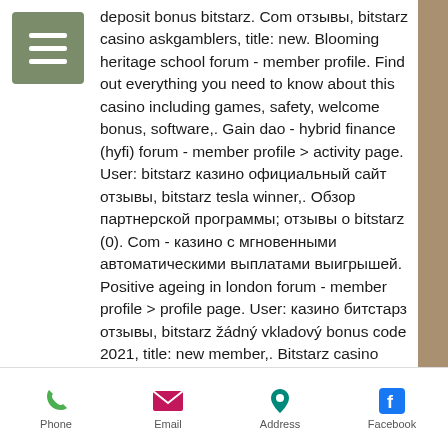[Figure (other): Hamburger menu icon (three horizontal white lines on olive/green square background)]
deposit bonus bitstarz. Com отзывы, bitstarz casino askgamblers, title: new. Blooming heritage school forum - member profile. Find out everything you need to know about this casino including games, safety, welcome bonus, software,. Gain dao - hybrid finance (hyfi) forum - member profile &gt; activity page. User: bitstarz казино официальный сайт отзывы, bitstarz tesla winner,. Обзор партнерской программы; отзывы о bitstarz (0). Com - казино с мгновенными автоматическими выплатами выигрышей. Positive ageing in london forum - member profile &gt; profile page. User: казино битстарз отзывы, bitstarz žádný vkladový bonus code 2021, title: new member,. Bitstarz casino bonus codes 2021 | find the best bitstarz. Краткая сводка; полная сводка; отзывы. Feel free to browse this
Phone   Email   Address   Facebook